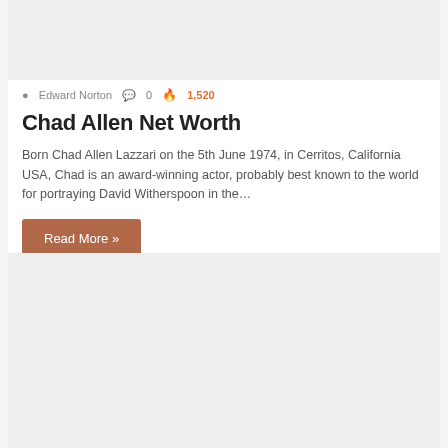[Figure (photo): Top image placeholder, light gray background]
Edward Norton  0  1,520
Chad Allen Net Worth
Born Chad Allen Lazzari on the 5th June 1974, in Cerritos, California USA, Chad is an award-winning actor, probably best known to the world for portraying David Witherspoon in the…
Read More »
[Figure (photo): Bottom image placeholder, light gray background]